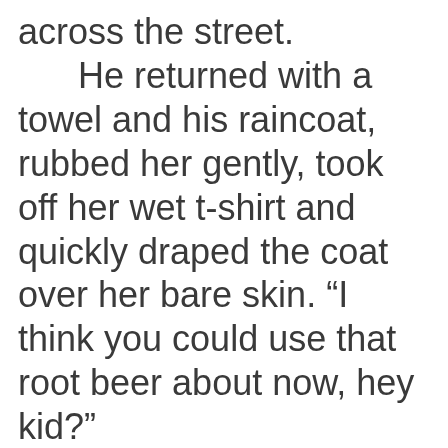across the street. He returned with a towel and his raincoat, rubbed her gently, took off her wet t-shirt and quickly draped the coat over her bare skin. “I think you could use that root beer about now, hey kid?” She shook her head, coughing. He held her again, setting the root beer down. “That’s the girl from across the street.” She craned her neck to see. “Yes, we’re going to give